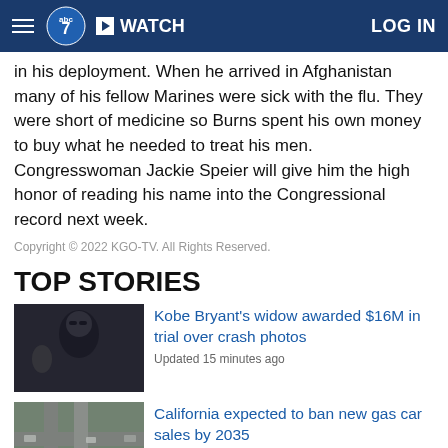ABC7 | WATCH | LOG IN
in his deployment. When he arrived in Afghanistan many of his fellow Marines were sick with the flu. They were short of medicine so Burns spent his own money to buy what he needed to treat his men. Congresswoman Jackie Speier will give him the high honor of reading his name into the Congressional record next week.
Copyright © 2022 KGO-TV. All Rights Reserved.
TOP STORIES
[Figure (photo): Woman in dark sunglasses and dark clothing, photo thumbnail for Kobe Bryant story]
Kobe Bryant's widow awarded $16M in trial over crash photos
Updated 15 minutes ago
[Figure (photo): Aerial view of cars/traffic, thumbnail for California gas car story]
California expected to ban new gas car sales by 2035